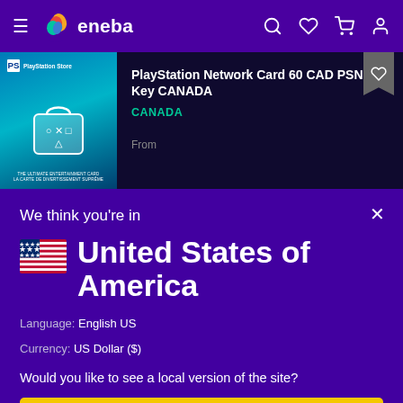eneba — navigation bar with hamburger menu, logo, search, wishlist, cart, account icons
[Figure (screenshot): PlayStation Network Card 60 CAD PSN Key CANADA product listing on dark background with PlayStation Store bag image]
PlayStation Network Card 60 CAD PSN Key CANADA
CANADA
From
We think you're in
United States of America
Language: English US
Currency: US Dollar ($)
Would you like to see a local version of the site?
Yes